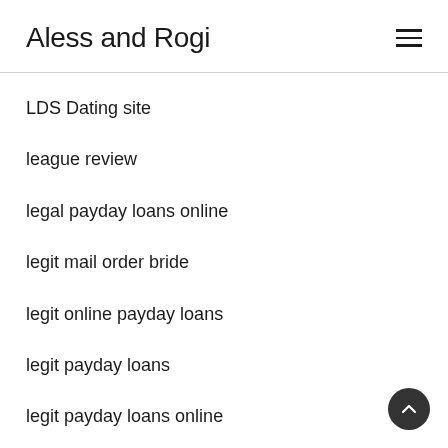Aless and Rogi
LDS Dating site
league review
legal payday loans online
legit mail order bride
legit online payday loans
legit payday loans
legit payday loans online
line of credit payday loans